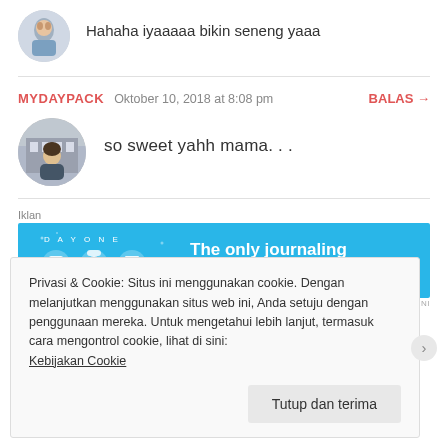Hahaha iyaaaaa bikin seneng yaaa
MYDAYPACK  Oktober 10, 2018 at 8:08 pm  BALAS →
so sweet yahh mama. . .
Iklan
[Figure (screenshot): DAY ONE app advertisement banner: blue background with three icons and text 'The only journaling app you'll ever need.']
LAPORKAN IKLAN INI
Privasi & Cookie: Situs ini menggunakan cookie. Dengan melanjutkan menggunakan situs web ini, Anda setuju dengan penggunaan mereka. Untuk mengetahui lebih lanjut, termasuk cara mengontrol cookie, lihat di sini: Kebijakan Cookie
Tutup dan terima